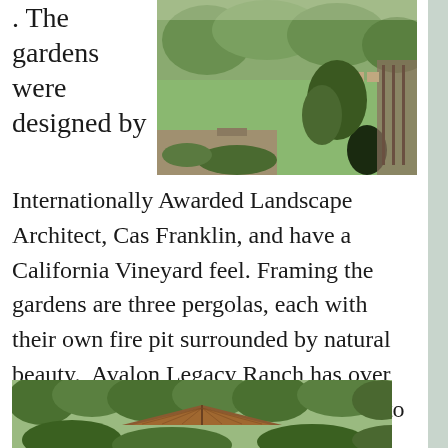. The gardens were designed by Internationally Awarded Landscape Architect, Cas Franklin, and have a California Vineyard feel. Framing the gardens are three pergolas, each with their own fire pit surrounded by natural beauty. Avalon Legacy Ranch has over 150 rose bushes and too many flowers to even begin counting.
[Figure (photo): Aerial/landscape view of garden with green lawn, trees, and seating area with furniture visible in background]
[Figure (photo): Bottom photo showing a structure (pavilion or pergola) partially visible among dense trees]